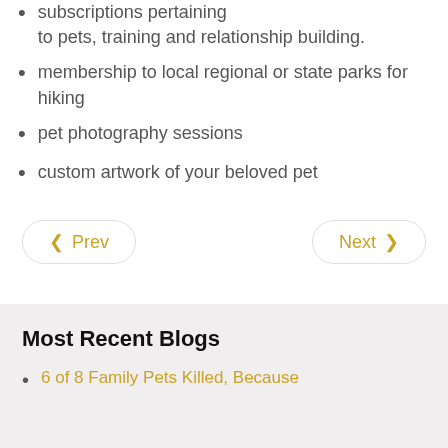subscriptions pertaining to pets, training and relationship building.
membership to local regional or state parks for hiking
pet photography sessions
custom artwork of your beloved pet
Prev  Next
Most Recent Blogs
6 of 8 Family Pets Killed, Because